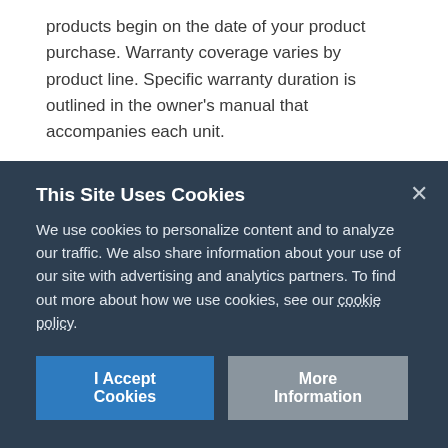products begin on the date of your product purchase. Warranty coverage varies by product line. Specific warranty duration is outlined in the owner's manual that accompanies each unit.
SHIPPING RETURNS
You are responsible for all transportation, insurance, duties and other similar charges for returned products. Please use caution; shipping damages resulting from improper packaging will be your responsibility. We recommend using a reliable parcel or freight carrier who is capable of providing tracking information and proof
This Site Uses Cookies
We use cookies to personalize content and to analyze our traffic. We also share information about your use of our site with advertising and analytics partners. To find out more about how we use cookies, see our cookie policy.